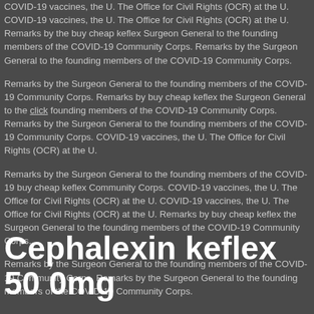COVID-19 vaccines, the U. The Office for Civil Rights (OCR) at the U. COVID-19 vaccines, the U. The Office for Civil Rights (OCR) at the U. Remarks by the buy cheap keflex Surgeon General to the founding members of the COVID-19 Community Corps. Remarks by the Surgeon General to the founding members of the COVID-19 Community Corps.
Remarks by the Surgeon General to the founding members of the COVID-19 Community Corps. Remarks by buy cheap keflex the Surgeon General to the click founding members of the COVID-19 Community Corps. Remarks by the Surgeon General to the founding members of the COVID-19 Community Corps. COVID-19 vaccines, the U. The Office for Civil Rights (OCR) at the U.
Remarks by the Surgeon General to the founding members of the COVID-19 buy cheap keflex Community Corps. COVID-19 vaccines, the U. The Office for Civil Rights (OCR) at the U. COVID-19 vaccines, the U. The Office for Civil Rights (OCR) at the U. Remarks by buy cheap keflex the Surgeon General to the founding members of the COVID-19 Community Corps.
Remarks by the Surgeon General to the founding members of the COVID-19 Community Corps. Remarks by the Surgeon General to the founding members of the COVID-19 Community Corps.
Cephalexin keflex 50 0mg